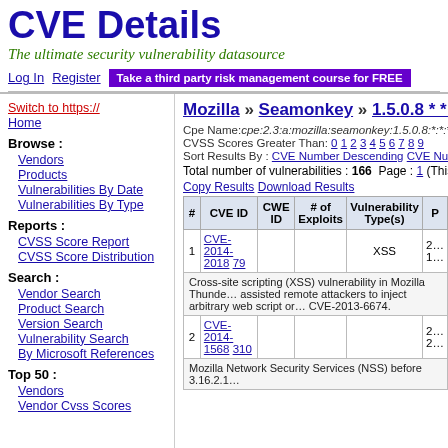CVE Details
The ultimate security vulnerability datasource
Log In  Register  Take a third party risk management course for FREE
Switch to https://
Home
Browse :
Vendors
Products
Vulnerabilities By Date
Vulnerabilities By Type
Reports :
CVSS Score Report
CVSS Score Distribution
Search :
Vendor Search
Product Search
Version Search
Vulnerability Search
By Microsoft References
Top 50 :
Vendors
Vendor Cvss Scores
Mozilla » Seamonkey » 1.5.0.8 * * * : S
Cpe Name:cpe:2.3:a:mozilla:seamonkey:1.5.0.8:*:*:*:*:*:*:*
CVSS Scores Greater Than: 0 1 2 3 4 5 6 7 8 9
Sort Results By : CVE Number Descending  CVE Number Asc...
Total number of vulnerabilities : 166  Page : 1 (This Pa...
Copy Results  Download Results
| # | CVE ID | CWE ID | # of Exploits | Vulnerability Type(s) | P |
| --- | --- | --- | --- | --- | --- |
| 1 | CVE-2014-2018 79 |  | XSS | 2... 1... |  |
|  | Cross-site scripting (XSS) vulnerability in Mozilla Thunde... assisted remote attackers to inject arbitrary web script or... CVE-2013-6674. |  |  |  |  |
| 2 | CVE-2014-1568 310 |  |  | 2... 2... |  |
|  | Mozilla Network Security Services (NSS) before 3.16.2.1... |  |  |  |  |